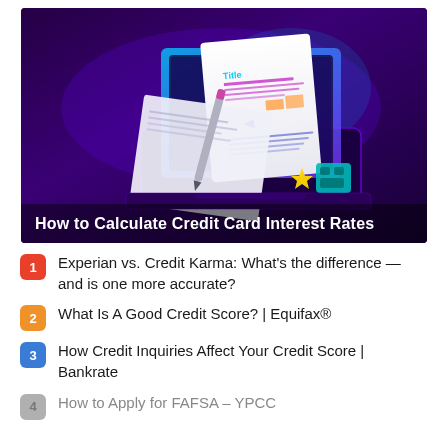[Figure (illustration): Isometric illustration of a laptop/tablet displaying a document titled 'Title' with annotations, a pen/stylus, and decorative elements including a star and small robot, on a dark purple gradient background. Text overlay at bottom reads 'How to Calculate Credit Card Interest Rates'.]
Experian vs. Credit Karma: What’s the difference — and is one more accurate?
What Is A Good Credit Score? | Equifax®
How Credit Inquiries Affect Your Credit Score | Bankrate
How to Apply for FAFSA – YPCC